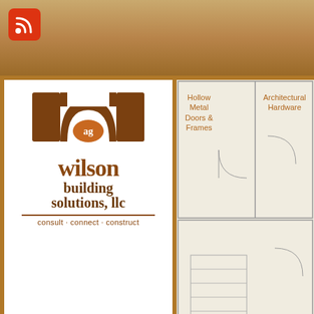[Figure (screenshot): AG Wilson Building Solutions LLC website screenshot showing logo, floor plan image, navigation bar with Welcome, Blog Posts, Manufacturers, Product Information, and a blog post about Mesker Southeast Ft. Lauderdale Florida dated February 18]
ag wilson building solutions, llc — consult · connect · construct
Mesker Southeast Ft. Lauderdale, Flori...
Hardware, Hollow Metal Doors, Hollow Metal Frames
Tweet  Share